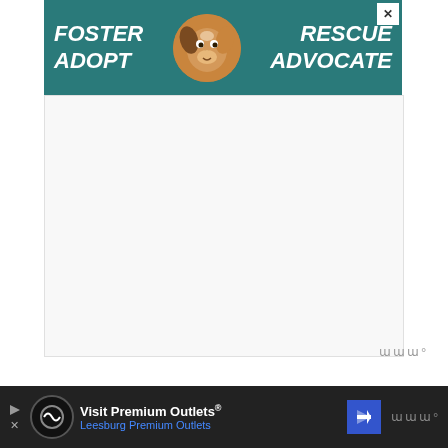[Figure (other): Pet adoption advertisement banner with teal background showing a dog and text: FOSTER RESCUE ADOPT ADVOCATE]
[Figure (other): White/gray advertisement placeholder space with small wordmark icon in bottom right]
My two favorite spots are Montreal, where we did interiors. Montreal is just one of the coolest cities I've gotten to go to. And Cartagena, on the North coast of Colombia. That was like the coolest city. We w... walled, older portion of the city was where
[Figure (other): Bottom advertisement bar: Visit Premium Outlets® Leesburg Premium Outlets with navigation arrow icon]